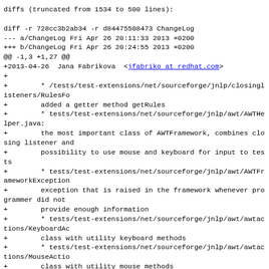diffs (truncated from 1534 to 500 lines):

diff -r 728cc3b2ab34 -r d84475508473 ChangeLog
--- a/ChangeLog Fri Apr 26 20:11:33 2013 +0200
+++ b/ChangeLog Fri Apr 26 20:24:55 2013 +0200
@@ -1,3 +1,27 @@
+2013-04-26  Jana Fabrikova  <jfabriko at redhat.com>
+
+        * /tests/test-extensions/net/sourceforge/jnlp/closinglisteners/RulesFo
+        added a getter method getRules
+        * tests/test-extensions/net/sourceforge/jnlp/awt/AWTHelper.java:
+        the most important class of AWTFramework, combines closing listener and
+        possibility to use mouse and keyboard for input to tests
+        * tests/test-extensions/net/sourceforge/jnlp/awt/AWTFrameworkException
+        exception that is raised in the framework whenever programmer did not
+        provide enough information
+        * tests/test-extensions/net/sourceforge/jnlp/awt/awtactions/KeyboardAc
+        class with utility keyboard methods
+        * tests/test-extensions/net/sourceforge/jnlp/awt/awtactions/MouseActio
+        class with utility mouse methods
+        * tests/test-extensions/net/sourceforge/jnlp/awt/imagesearch/Component